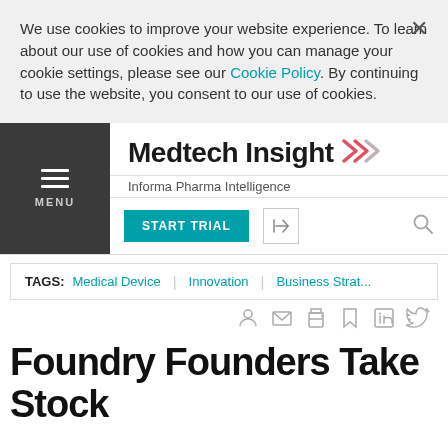We use cookies to improve your website experience. To learn about our use of cookies and how you can manage your cookie settings, please see our Cookie Policy. By continuing to use the website, you consent to our use of cookies.
Medtech Insight — Informa Pharma Intelligence
TAGS: Medical Device | Innovation | Business Strat...
Foundry Founders Take Stock